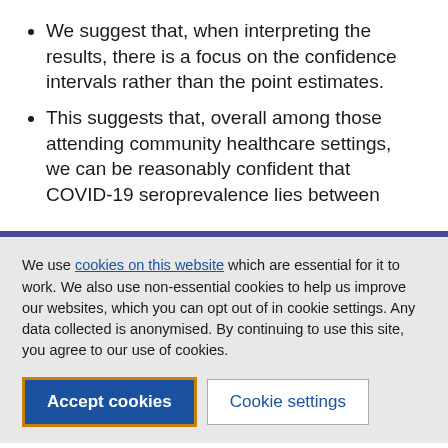We suggest that, when interpreting the results, there is a focus on the confidence intervals rather than the point estimates.
This suggests that, overall among those attending community healthcare settings, we can be reasonably confident that COVID-19 seroprevalence lies between
We use cookies on this website which are essential for it to work. We also use non-essential cookies to help us improve our websites, which you can opt out of in cookie settings. Any data collected is anonymised. By continuing to use this site, you agree to our use of cookies.